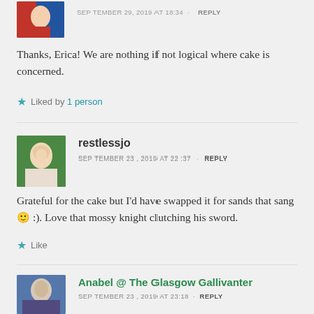SEPTEMBER 29, 2019 AT 18:54  ·  REPLY
Thanks, Erica! We are nothing if not logical where cake is concerned.
★ Liked by 1 person
restlessjo
SEPTEMBER 23, 2019 AT 22:37  ·  REPLY
Grateful for the cake but I'd have swapped it for sands that sang 🙂 :). Love that mossy knight clutching his sword.
★ Like
Anabel @ The Glasgow Gallivanter
SEPTEMBER 23, 2019 AT 23:18  ·  REPLY